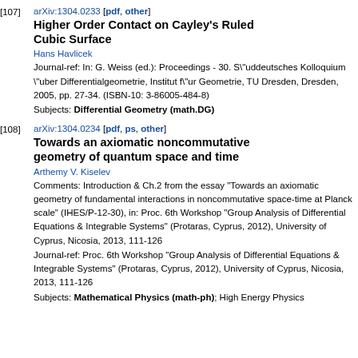[107] arXiv:1304.0233 [pdf, other]
Higher Order Contact on Cayley's Ruled Cubic Surface
Hans Havlicek
Journal-ref: In: G. Weiss (ed.): Proceedings - 30. S\"uddeutsches Kolloquium \"uber Differentialgeometrie, Institut f\"ur Geometrie, TU Dresden, Dresden, 2005, pp. 27-34. (ISBN-10: 3-86005-484-8)
Subjects: Differential Geometry (math.DG)
[108] arXiv:1304.0234 [pdf, ps, other]
Towards an axiomatic noncommutative geometry of quantum space and time
Arthemy V. Kiselev
Comments: Introduction & Ch.2 from the essay "Towards an axiomatic geometry of fundamental interactions in noncommutative space-time at Planck scale" (IHES/P-12-30), in: Proc. 6th Workshop "Group Analysis of Differential Equations & Integrable Systems" (Protaras, Cyprus, 2012), University of Cyprus, Nicosia, 2013, 111-126
Journal-ref: Proc. 6th Workshop "Group Analysis of Differential Equations & Integrable Systems" (Protaras, Cyprus, 2012), University of Cyprus, Nicosia, 2013, 111-126
Subjects: Mathematical Physics (math-ph); High Energy Physics